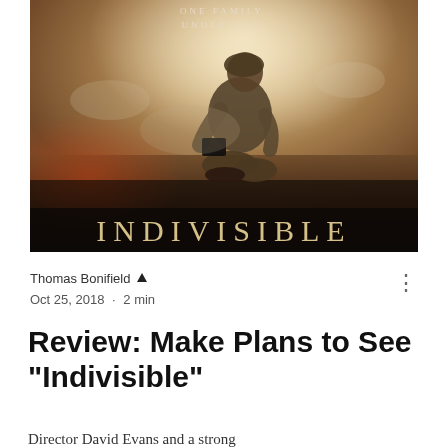[Figure (photo): Movie poster for 'Indivisible' showing a soldier in camouflage uniform kneeling and holding a Bible, with text 'One Family. Under God.' at the top and 'INDIVISIBLE' in large letters at the bottom. Background shows smoky battlefield scene.]
Thomas Bonifield 🔺
Oct 25, 2018 · 2 min
Review: Make Plans to See "Indivisible"
Director David Evans and a strong